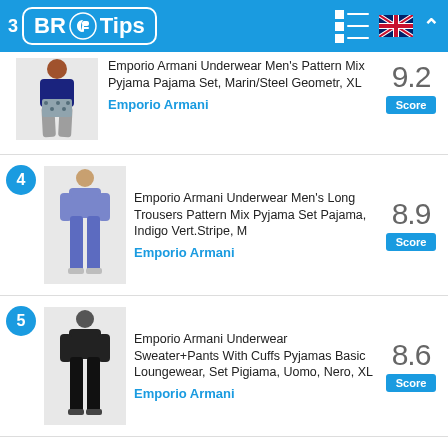3 BR Tips
Emporio Armani Underwear Men's Pattern Mix Pyjama Pajama Set, Marin/Steel Geometr, XL
Emporio Armani
9.2 Score
Emporio Armani Underwear Men's Long Trousers Pattern Mix Pyjama Set Pajama, Indigo Vert.Stripe, M
Emporio Armani
8.9 Score
Emporio Armani Underwear Sweater+Pants With Cuffs Pyjamas Basic Loungewear, Set Pigiama, Uomo, Nero, XL
Emporio Armani
8.6 Score